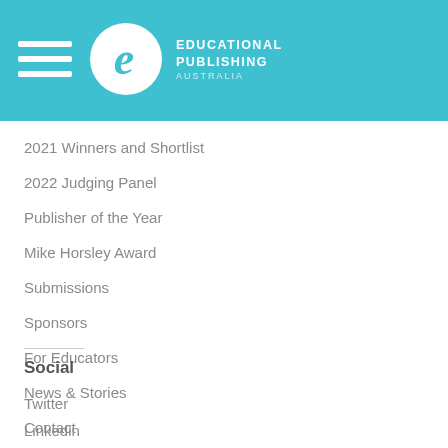[Figure (logo): Educational Publishing Australia logo with hamburger menu icon, circular white logo with teal 'e', and text EDUCATIONAL PUBLISHING AUSTRALIA]
2021 Winners and Shortlist
2022 Judging Panel
Publisher of the Year
Mike Horsley Award
Submissions
Sponsors
For Educators
News & Stories
Contact
Social
Twitter
Linkedin